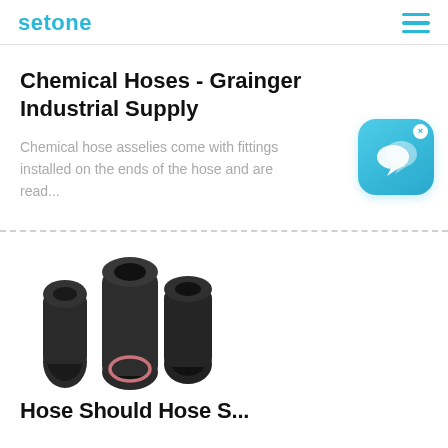setone
Chemical Hoses - Grainger Industrial Supply
Chemical hose asselies come with fittings installed on the ends of the hose and are read...
[Figure (illustration): Blue chat bubble icon with two overlapping speech bubbles and an X close button]
[Figure (photo): Three black rubber industrial hoses with open ends shown from the front at an angle]
Hose Should Hose S...